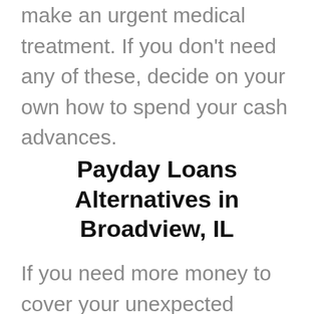make an urgent medical treatment. If you don't need any of these, decide on your own how to spend your cash advances.
Payday Loans Alternatives in Broadview, IL
If you need more money to cover your unexpected financial emergencies, you